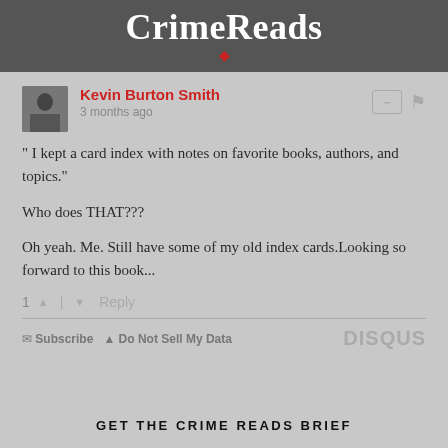CrimeReads
Kevin Burton Smith
3 months ago
" I kept a card index with notes on favorite books, authors, and topics."

Who does THAT???

Oh yeah. Me. Still have some of my old index cards.Looking so forward to this book...
1   Reply
Subscribe   Do Not Sell My Data   DISQUS
GET THE CRIME READS BRIEF